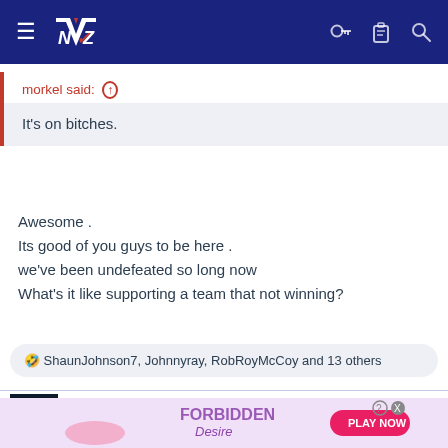[Figure (screenshot): Navigation bar with dark navy background, hamburger menu icon, NZ logo with red chevron, and right-side icons for key, clipboard, and search]
morkel said: ↑
It's on bitches.
Awesome .
Its good of you guys to be here .
we've been undefeated so long now
What's it like supporting a team that not winning?
🤣 ShaunJohnson7, Johnnyray, RobRoyMcCoy and 13 others
Raw Power
[Figure (illustration): Advertisement banner for Forbidden Desire game with anime-style character and Play Now button]